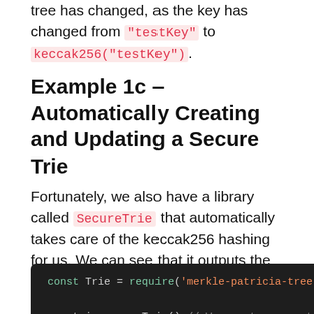tree has changed, as the key has changed from "testKey" to keccak256("testKey").
Example 1c – Automatically Creating and Updating a Secure Trie
Fortunately, we also have a library called SecureTrie that automatically takes care of the keccak256 hashing for us. We can see that it outputs the same root hash as example1b.js
[Figure (screenshot): Code block showing JavaScript: const Trie = require('merkle-patricia-tree').Secur... var trie = new Trie() // We create an empty Merkle console.log('Empty trie root (Bytes): ', trie.root async function test() {]